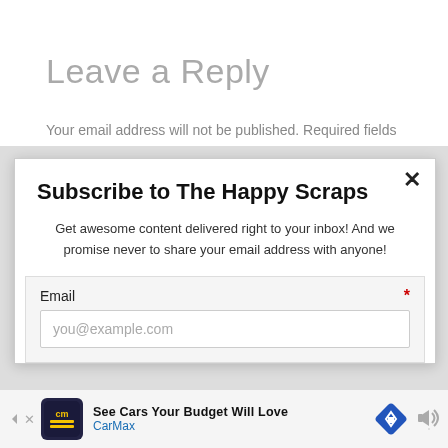Leave a Reply
Your email address will not be published. Required fields
Subscribe to The Happy Scraps
Get awesome content delivered right to your inbox! And we promise never to share your email address with anyone!
Email * you@example.com
[Figure (infographic): CarMax advertisement banner: See Cars Your Budget Will Love — CarMax]
See Cars Your Budget Will Love — CarMax